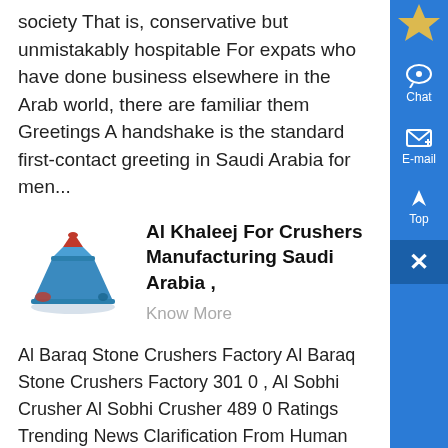society That is, conservative but unmistakably hospitable For expats who have done business elsewhere in the Arab world, there are familiar them Greetings A handshake is the standard first-contact greeting in Saudi Arabia for men...
[Figure (illustration): Blue and red cone crusher machine illustration]
Al Khaleej For Crushers Manufacturing Saudi Arabia ,
Know More
Al Baraq Stone Crushers Factory Al Baraq Stone Crushers Factory 301 0 , Al Sobhi Crusher Al Sobhi Crusher 489 0 Ratings Trending News Clarification From Human Resources On 21 And 30 Days Annual Leave For Workers In Saudi Arabia , Three Steps To Start Business In Saudi Arabia, New Service Launched To Attract Foreign Investors ....
[Figure (infographic): Blue sidebar with chat, email, top and close icons]